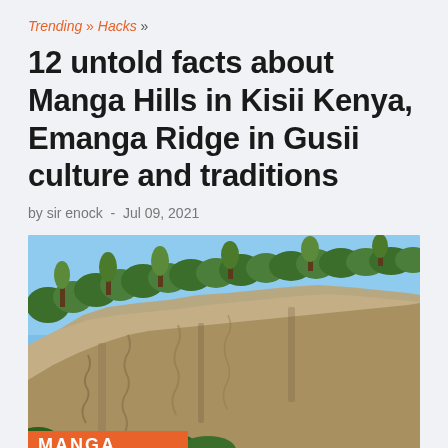Trending » Hacks »
12 untold facts about Manga Hills in Kisii Kenya, Emanga Ridge in Gusii culture and traditions
by sir enock - Jul 09, 2021
[Figure (photo): Photograph of Manga Hills showing a dramatic rocky cliff face with lush green trees and eucalyptus along the ridge against a clear blue sky. An orange banner at the bottom reads MANGA.]